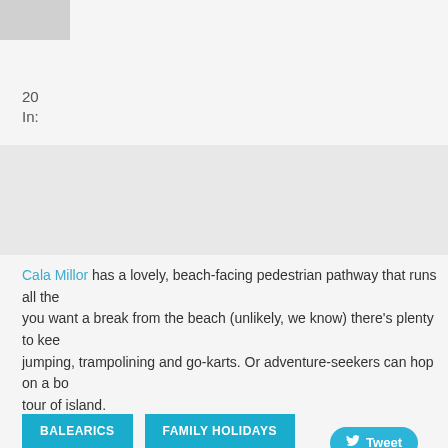20
In:
Cala Millor has a lovely, beach-facing pedestrian pathway that runs all the way you want a break from the beach (unlikely, we know) there's plenty to keep jumping, trampolining and go-karts. Or adventure-seekers can hop on a bo tour of island.
BALEARICS
FAMILY HOLIDAYS